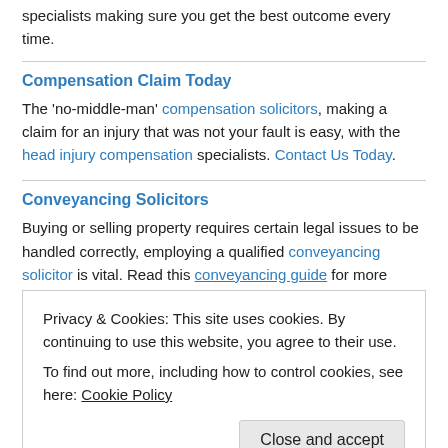specialists making sure you get the best outcome every time.
Compensation Claim Today
The 'no-middle-man' compensation solicitors, making a claim for an injury that was not your fault is easy, with the head injury compensation specialists. Contact Us Today.
Conveyancing Solicitors
Buying or selling property requires certain legal issues to be handled correctly, employing a qualified conveyancing solicitor is vital. Read this conveyancing guide for more information.
Privacy & Cookies: This site uses cookies. By continuing to use this website, you agree to their use.
To find out more, including how to control cookies, see here: Cookie Policy
experts.